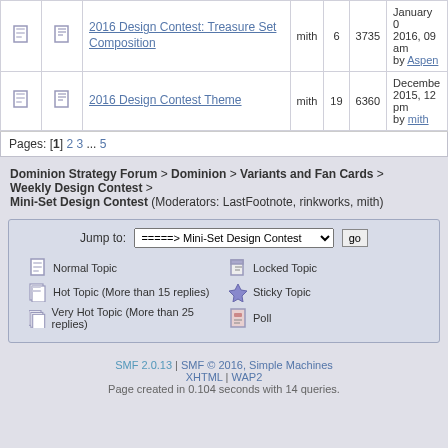|  |  | Topic | Started by | Replies | Views | Last post |
| --- | --- | --- | --- | --- | --- | --- |
| [icon] | [icon] | 2016 Design Contest: Treasure Set Composition | mith | 6 | 3735 | January 0 2016, 09 am by Aspen |
| [icon] | [icon] | 2016 Design Contest Theme | mith | 19 | 6360 | December 2015, 12 pm by mith |
Pages: [1] 2 3 ... 5
Dominion Strategy Forum > Dominion > Variants and Fan Cards > Weekly Design Contest > Mini-Set Design Contest (Moderators: LastFootnote, rinkworks, mith)
Jump to: =====> Mini-Set Design Contest  go
Normal Topic
Hot Topic (More than 15 replies)
Very Hot Topic (More than 25 replies)
Locked Topic
Sticky Topic
Poll
SMF 2.0.13 | SMF © 2016, Simple Machines  XHTML | WAP2  Page created in 0.104 seconds with 14 queries.